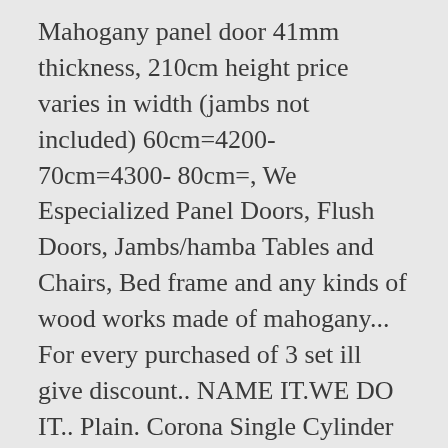Mahogany panel door 41mm thickness, 210cm height price varies in width (jambs not included) 60cm=4200- 70cm=4300- 80cm=, We Especialized Panel Doors, Flush Doors, Jambs/hamba Tables and Chairs, Bed frame and any kinds of wood works made of mahogany... For every purchased of 3 set ill give discount.. NAME IT.WE DO IT.. Plain. Corona Single Cylinder Solid Brass Entrance Door Lock Gold ₱ 7,999.00. ... Panel Door And Flush Door ₱ 1,300.00. Best Sellers. DIAL A DOOR CORPORATION was formally organized and registered in the Securities and Exchange Commission on June 1994. DOORS AND WINDOWS: National Capital Region – (3rd